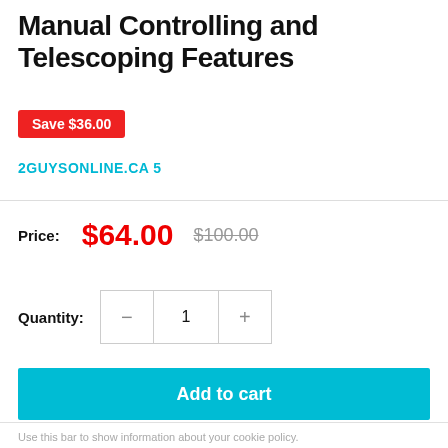Manual Controlling and Telescoping Features
Save $36.00
2GUYSONLINE.CA 5
Price: $64.00 $100.00
Quantity: 1
Add to cart
Use this bar to show information about your cookie policy.
Accept